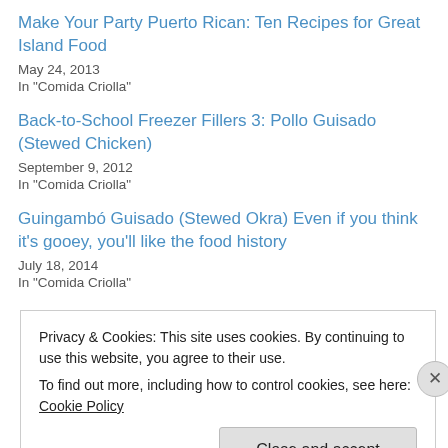Make Your Party Puerto Rican: Ten Recipes for Great Island Food
May 24, 2013
In "Comida Criolla"
Back-to-School Freezer Fillers 3: Pollo Guisado (Stewed Chicken)
September 9, 2012
In "Comida Criolla"
Guingambó Guisado (Stewed Okra) Even if you think it’s gooey, you’ll like the food history
July 18, 2014
In "Comida Criolla"
Privacy & Cookies: This site uses cookies. By continuing to use this website, you agree to their use.
To find out more, including how to control cookies, see here: Cookie Policy
Close and accept